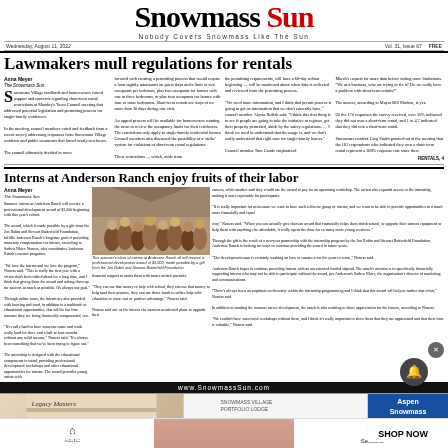Snowmass Sun — Nobody Covers Snowmass Like The Sun — Wednesday, August 11, 2022 — Vol. 31, Issue 67 — FREE
Lawmakers mull regulations for rentals
Snowmass Village landlords and homeowners voiced support and concerns regarding short-term rental restrictions at Monday's Town Council meeting that addressed potential legislation and permitting process for single-family residences. In the meeting, council members voted and feedback from a recent survey addressing responses from Snowmass Village residents and public comments that lasted nearly two hours. The council ultimately decided to move forward with creating a permitting process that would require a least nightly minimums on guest stays and a limit of two occupants per bedroom, plus two occupants for homes with one to three bedrooms, or plus four occupants for homes with four or more bedrooms. Short-term rentals are stays of no more than 30 days during one visit. An appeal process will be available for homeowners wanting the town to review the occupancy limits for their residences. The restrictions only apply to single-family residential homes. Council members also discussed the possibility of a 'strike' system for violations of short-term rental regulations.
Interns at Anderson Ranch enjoy fruits of their labor
[Figure (photo): Group photo of summer interns at Anderson Ranch Arts Center]
This summer's class of interns at Anderson Ranch all will receive a professional development award of $3,000, made possible by a gift from the Jon Rubin and Stewart Butterfield Foundation.
Summer interns at Anderson Ranch will receive a professional development award of $3,000 beginning with this year's cohort. The award, which is made possible by a gift from the Jon Rubin and Stewart Butterfield Foundation, fulfills Anderson Ranch's longtime goal of providing monetary compensation for interns, according to Sothea Nhiev Noness, who coordinates Anderson Ranch's intern programs.
www.SnowmassSun.com
[Figure (photo): Legacy Masters advertisement panel]
[Figure (photo): Aspen Snowmass advertisement panel]
[Figure (photo): Macy's advertisement — Kiss Boring Lips Goodbye — Shop Now]
Home | Trending | Sections